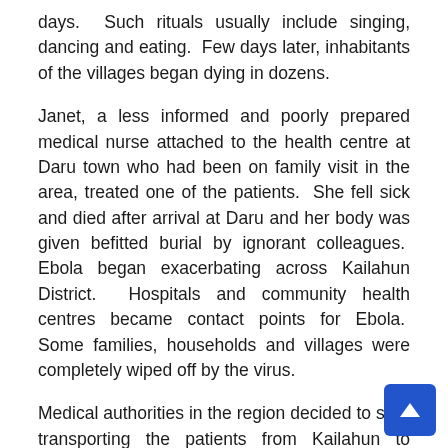days.  Such rituals usually include singing, dancing and eating.  Few days later, inhabitants of the villages began dying in dozens.
Janet, a less informed and poorly prepared medical nurse attached to the health centre at Daru town who had been on family visit in the area, treated one of the patients.  She fell sick and died after arrival at Daru and her body was given befitted burial by ignorant colleagues.  Ebola began exacerbating across Kailahun District.  Hospitals and community health centres became contact points for Ebola.  Some families, households and villages were completely wiped off by the virus.
Medical authorities in the region decided to start transporting the patients from Kailahun to Kenema Government Hospital which was equipped with lassa and haemorrhagic fever lab on the ground that there was no serious medical facility in Kailahun district.  Ill-equipped, poorly trained and less informed nurses at the Kenema Government Hospital began spreading